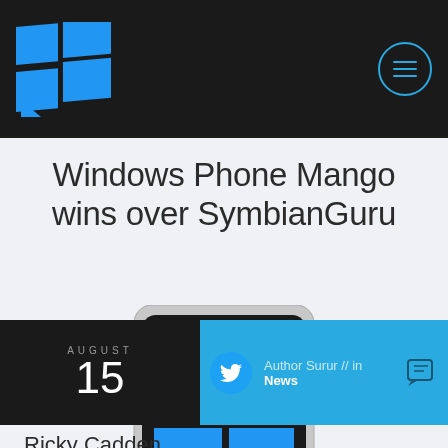Windows Phone news site header with logo and menu button
Windows Phone Mango wins over SymbianGuru
[Figure (photo): Nokia Windows Phone handset showing Windows Phone Mango UI with live tiles including phone (2), people, Facebook, messaging (3), and Outlook (7) tiles]
AUGUST 15
Author Surur // in News
Ricky Cadden, erstwhile of